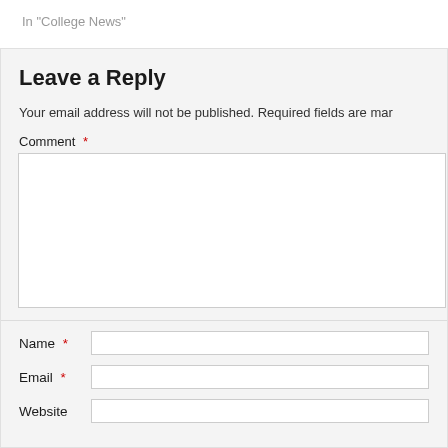In "College News"
Leave a Reply
Your email address will not be published. Required fields are mar
Comment *
Name *
Email *
Website